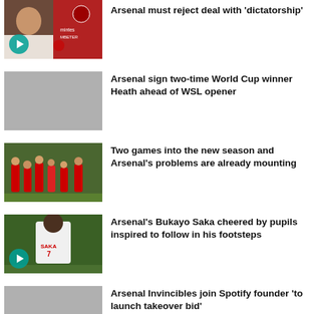Arsenal must reject deal with 'dictatorship'
[Figure (photo): Thumbnail with play button for Arsenal dictatorship story]
Arsenal sign two-time World Cup winner Heath ahead of WSL opener
[Figure (photo): Grey placeholder thumbnail for Heath WSL story]
Two games into the new season and Arsenal's problems are already mounting
[Figure (photo): Arsenal players on pitch looking dejected]
Arsenal's Bukayo Saka cheered by pupils inspired to follow in his footsteps
[Figure (photo): Bukayo Saka from behind wearing England shirt with play button]
Arsenal Invincibles join Spotify founder 'to launch takeover bid'
[Figure (photo): Grey placeholder thumbnail with play button for Invincibles story]